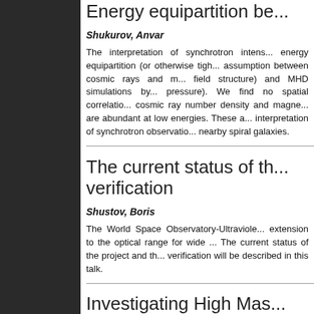Energy equipartition be...
Shukurov, Anvar
The interpretation of synchrotron intens... energy equipartition (or otherwise tight assumption between cosmic rays and m... field structure) and MHD simulations by pressure). We find no spatial correlation... cosmic ray number density and magne... are abundant at low energies. These a... interpretation of synchrotron observatio... nearby spiral galaxies.
The current status of th... verification
Shustov, Boris
The World Space Observatory-Ultraviole... extension to the optical range for wide The current status of the project and th... verification will be described in this talk.
Investigating High Mas...